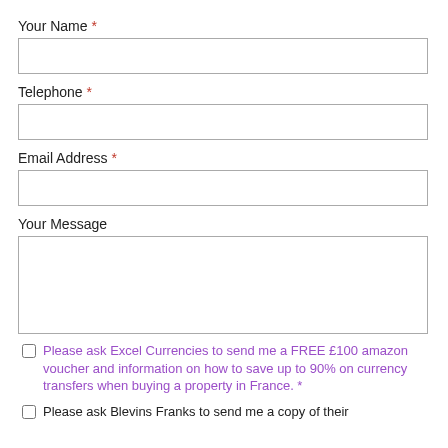Your Name *
Telephone *
Email Address *
Your Message
Please ask Excel Currencies to send me a FREE £100 amazon voucher and information on how to save up to 90% on currency transfers when buying a property in France. *
Please ask Blevins Franks to send me a copy of their